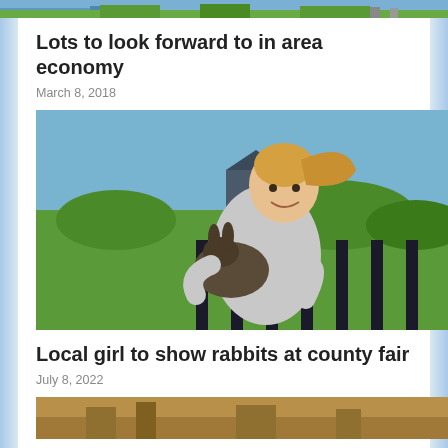[Figure (photo): Cropped top strip of an outdoor scene photo]
Lots to look forward to in area economy
March 8, 2018
[Figure (photo): A smiling teenage girl with a ponytail holding a rabbit, standing outdoors in front of a black picket fence with green lawn in the background]
Local girl to show rabbits at county fair
July 8, 2022
[Figure (photo): Partially visible bottom photo strip showing outdoor scene]